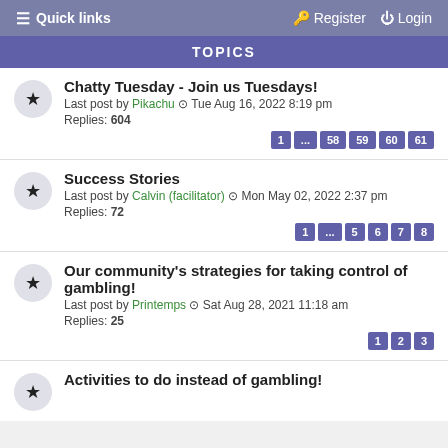Quick links   Register   Login
TOPICS
Chatty Tuesday - Join us Tuesdays! Last post by Pikachu Tue Aug 16, 2022 8:19 pm Replies: 604  Pages: 1 ... 58 59 60 61
Success Stories Last post by Calvin (facilitator) Mon May 02, 2022 2:37 pm Replies: 72  Pages: 1 ... 5 6 7 8
Our community's strategies for taking control of gambling! Last post by Printemps Sat Aug 28, 2021 11:18 am Replies: 25  Pages: 1 2 3
Activities to do instead of gambling!